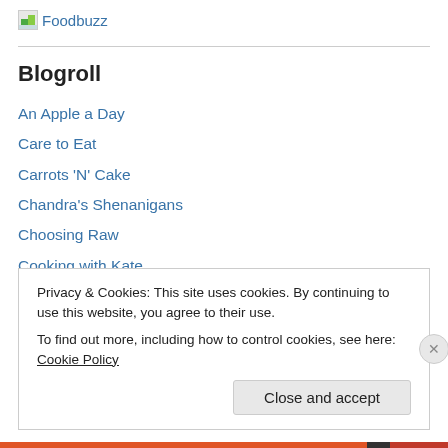[Figure (logo): Foodbuzz logo with small image icon and text]
Blogroll
An Apple a Day
Care to Eat
Carrots 'N' Cake
Chandra's Shenanigans
Choosing Raw
Cooking with Kate
Couch Cubicle
Privacy & Cookies: This site uses cookies. By continuing to use this website, you agree to their use. To find out more, including how to control cookies, see here: Cookie Policy
Close and accept